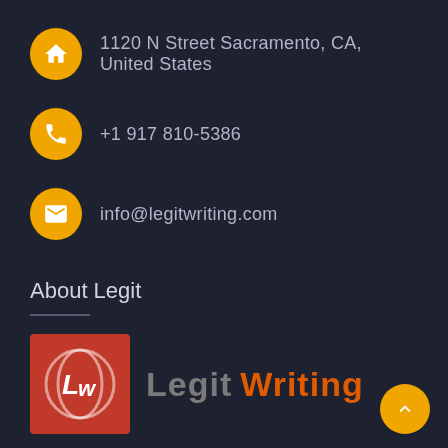1120 N Street Sacramento, CA, United States
+1 917 810-5386
info@legitwriting.com
About Legit
[Figure (logo): Legit Writing logo — red square with stylized LW monogram icon, followed by text 'Legit Writing' in gray and orange]
Legitwriting.com is an online provider of custom essays and assignment help for professional research purposes. We produce personalized papers that are free from